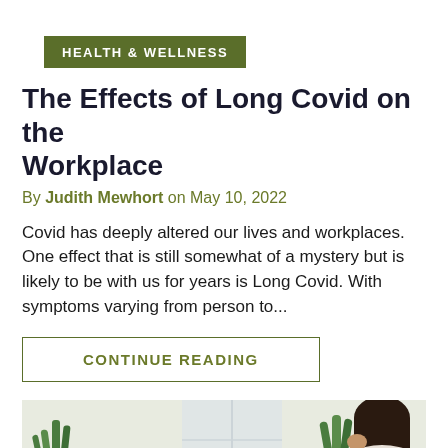HEALTH & WELLNESS
The Effects of Long Covid on the Workplace
By Judith Mewhort on May 10, 2022
Covid has deeply altered our lives and workplaces. One effect that is still somewhat of a mystery but is likely to be with us for years is Long Covid. With symptoms varying from person to...
CONTINUE READING
[Figure (photo): Photo of a person with dark hair sitting at a desk near a window with indoor plants, head resting on hand, appearing stressed or tired. Indoor office/home setting with plants visible.]